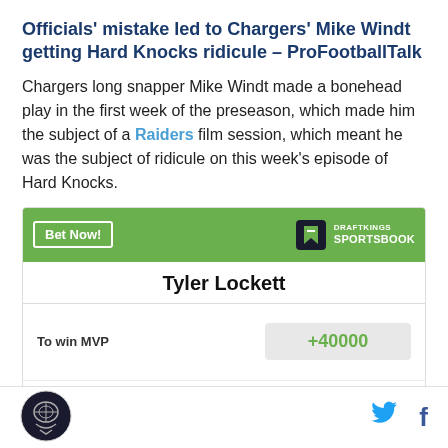Officials' mistake led to Chargers' Mike Windt getting Hard Knocks ridicule – ProFootballTalk
Chargers long snapper Mike Windt made a bonehead play in the first week of the preseason, which made him the subject of a Raiders film session, which meant he was the subject of ridicule on this week's episode of Hard Knocks.
| Tyler Lockett |  |
| --- | --- |
| To win MVP | +40000 |
SB Nation logo | Twitter | Facebook